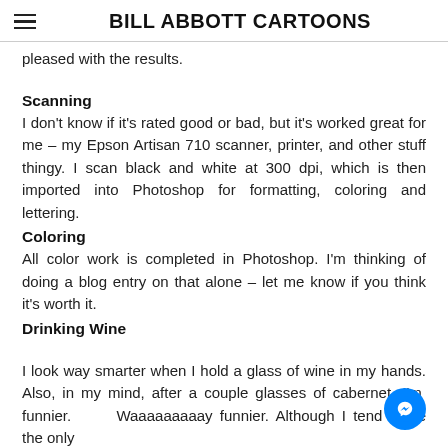BILL ABBOTT CARTOONS
pleased with the results.
Scanning
I don't know if it's rated good or bad, but it's worked great for me – my Epson Artisan 710 scanner, printer, and other stuff thingy. I scan black and white at 300 dpi, which is then imported into Photoshop for formatting, coloring and lettering.
Coloring
All color work is completed in Photoshop. I'm thinking of doing a blog entry on that alone – let me know if you think it's worth it.
Drinking Wine
I look way smarter when I hold a glass of wine in my hands. Also, in my mind, after a couple glasses of cabernet, I'm funnier. Waaaaaaaaay funnier. Although I tend to be the only one laughing. And smarter.